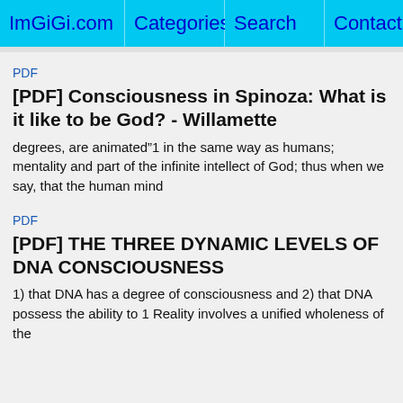ImGiGi.com   Categories   Search   Contact
PDF
[PDF] Consciousness in Spinoza: What is it like to be God? - Willamette
degrees, are animated“1 in the same way as humans; mentality and part of the infinite intellect of God; thus when we say, that the human mind
PDF
[PDF] THE THREE DYNAMIC LEVELS OF DNA CONSCIOUSNESS
1) that DNA has a degree of consciousness and 2) that DNA possess the ability to 1 Reality involves a unified wholeness of the